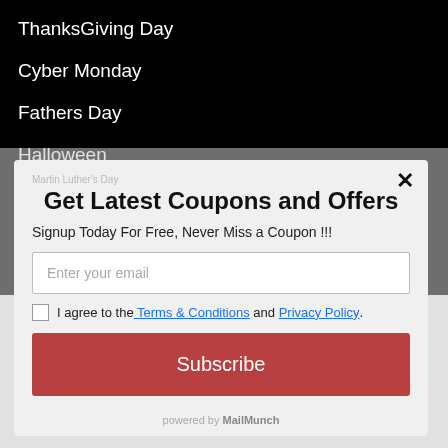ThanksGiving Day
Cyber Monday
Fathers Day
Halloween
Get Latest Coupons and Offers
Signup Today For Free, Never Miss a Coupon !!!
I agree to the Terms & Conditions and Privacy Policy.
Subscribe
powered by MailMunch